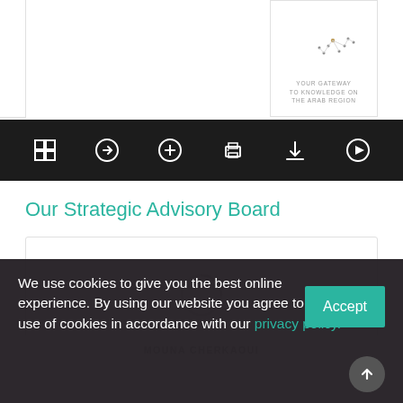[Figure (screenshot): Website toolbar with dark background showing navigation icons: grid view, arrow/navigation, zoom, print, download, and play button icons in white on dark background]
Our Strategic Advisory Board
[Figure (other): Loading spinner circle on white background inside a bordered card area representing a profile image loading state]
MOUNA CHERKAOUI
We use cookies to give you the best online experience. By using our website you agree to our use of cookies in accordance with our privacy policy.